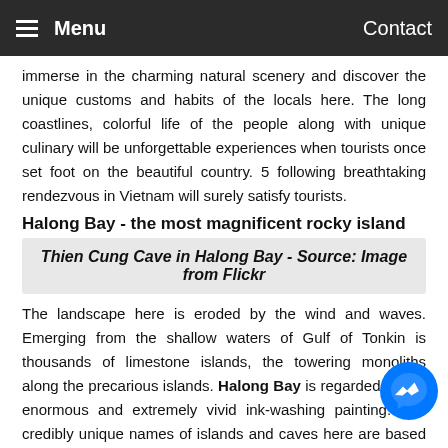Menu   Contact
immerse in the charming natural scenery and discover the unique customs and habits of the locals here. The long coastlines, colorful life of the people along with unique culinary will be unforgettable experiences when tourists once set foot on the beautiful country. 5 following breathtaking rendezvous in Vietnam will surely satisfy tourists.
Halong Bay - the most magnificent rocky island
Thien Cung Cave in Halong Bay - Source: Image from Flickr
The landscape here is eroded by the wind and waves. Emerging from the shallow waters of Gulf of Tonkin is thousands of limestone islands, the towering monoliths along the precarious islands. Halong Bay is regarded as the enormous and extremely vivid ink-washing painting. The credibly unique names of islands and caves here are based on the shape of the islands showing the rich imagination of sailors, namely Cho Da (Stone Dog) Islet, Ngon Tay (Finger) Islet or Trinh Nu (Virgin) Cave... Thanks to the abundant system of caves